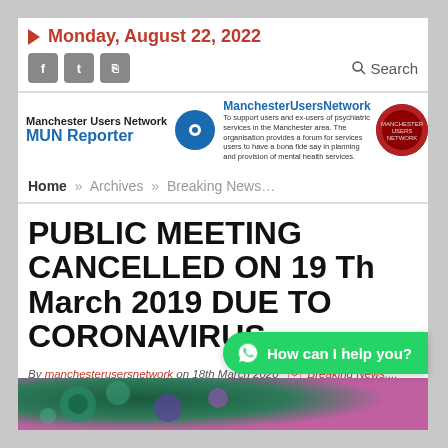Monday, August 22, 2022
[Figure (logo): Manchester Users Network MUN Reporter logo with circular icon and red badge]
Home » Archives » Breaking News…
PUBLIC MEETING CANCELLED ON 19 Th March 2019 DUE TO CORONAVIRUS
By manchesterusersnetwork on 18th March 2020 | Breaking News..., CUTS TO THE NHS, Editor's Note, Editor's Note Archive, Featured News, Greater Manchester West Mental care commission (in-patients), La...
[Figure (photo): Coronavirus microscopy image showing virus particles]